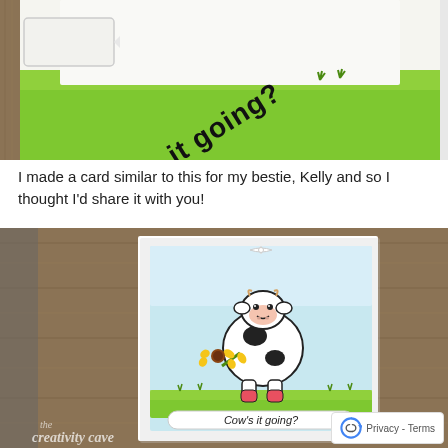[Figure (photo): Close-up photo of a handmade greeting card with a green grass background and the text 'Cow's it going?' written in black hand-lettered style. A tag shape is visible on the left. Small grass illustrations are visible.]
I made a card similar to this for my bestie, Kelly and so I thought I'd share it with you!
[Figure (photo): Photo of a handmade greeting card on a wooden surface. The card features a cute cartoon cow holding a yellow sunflower, standing on green grass with a light blue sky background. At the bottom of the card is a banner reading 'Cow's it going?' A white ribbon bow is attached at the top. A watermark 'the creativity cave' is visible at the bottom left. A reCAPTCHA Privacy/Terms badge is visible in the bottom right corner.]